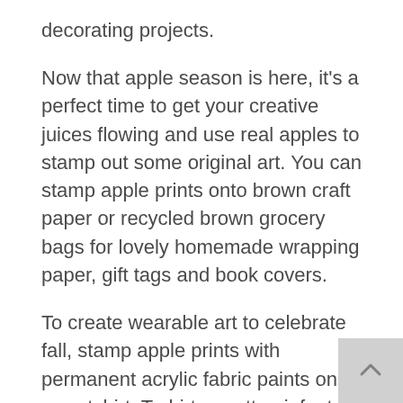decorating projects.
Now that apple season is here, it’s a perfect time to get your creative juices flowing and use real apples to stamp out some original art. You can stamp apple prints onto brown craft paper or recycled brown grocery bags for lovely homemade wrapping paper, gift tags and book covers.
To create wearable art to celebrate fall, stamp apple prints with permanent acrylic fabric paints on a sweatshirt, T-shirt or cotton infant wear. Stamp fabric napkins, place mats, potholder and dish towels, too. There’s really no end to objects that can sport an apple stamp or two.